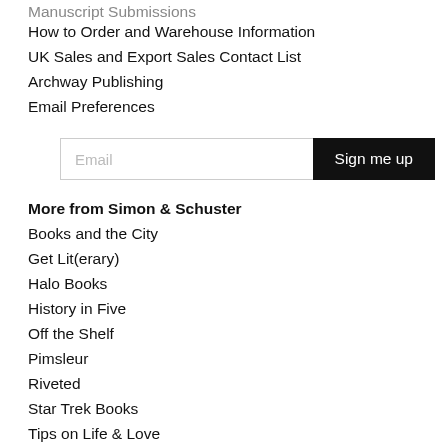Manuscript Submissions
How to Order and Warehouse Information
UK Sales and Export Sales Contact List
Archway Publishing
Email Preferences
More from Simon & Schuster
Books and the City
Get Lit(erary)
Halo Books
History in Five
Off the Shelf
Pimsleur
Riveted
Star Trek Books
Tips on Life & Love